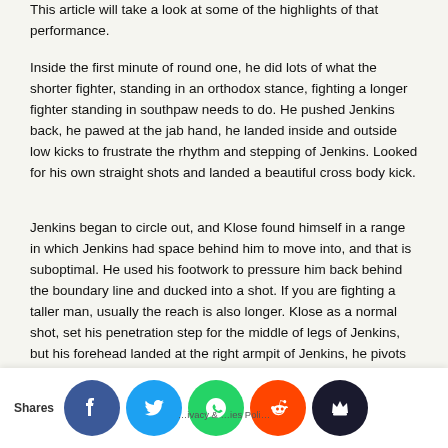This article will take a look at some of the highlights of that performance.
Inside the first minute of round one, he did lots of what the shorter fighter, standing in an orthodox stance, fighting a longer fighter standing in southpaw needs to do. He pushed Jenkins back, he pawed at the jab hand, he landed inside and outside low kicks to frustrate the rhythm and stepping of Jenkins. Looked for his own straight shots and landed a beautiful cross body kick.
Jenkins began to circle out, and Klose found himself in a range in which Jenkins had space behind him to move into, and that is suboptimal. He used his footwork to pressure him back behind the boundary line and ducked into a shot. If you are fighting a taller man, usually the reach is also longer. Klose as a normal shot, set his penetration step for the middle of legs of Jenkins, but his forehead landed at the right armpit of Jenkins, he pivots off having secured a tight waist grip, and gains back bodylock exposure.
T…lly negati…long fram…digging fo…hizzers or…derhooks here …p fi…stoo…ded…onto twe…and sto…ed his hin…